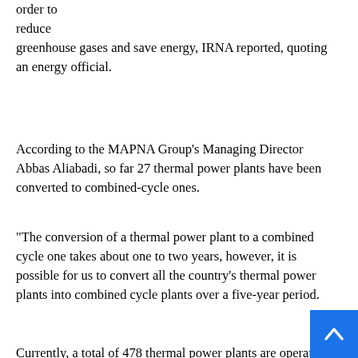order to reduce greenhouse gases and save energy, IRNA reported, quoting an energy official.
According to the MAPNA Group's Managing Director Abbas Aliabadi, so far 27 thermal power plants have been converted to combined-cycle ones.
“The conversion of a thermal power plant to a combined cycle one takes about one to two years, however, it is possible for us to convert all the country’s thermal power plants into combined cycle plants over a five-year period.
Currently, a total of 478 thermal power plants are operating throughout Iran, of which 160 units could be turned into combined cycle plants. In doing so, 12,600 megawatts will be added to the country's power capacity.
As reported by IRNA on Wednesday, Iran's Nominal electricity generation capacity has reached 80,509 megawatts (80.509 gigawatts). The country increased its electricity generation